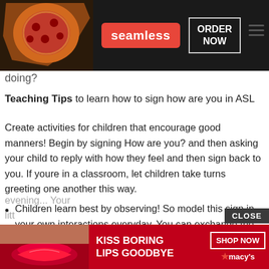[Figure (screenshot): Top banner advertisement for Seamless food delivery showing pizza image, Seamless logo in red, and ORDER NOW button]
HE... HEAL...
doing?
Teaching Tips to learn how to sign how are you in ASL
Create activities for children that encourage good manners! Begin by signing How are you? and then asking your child to reply with how they feel and then sign back to you. If youre in a classroom, let children take turns greeting one another this way.
Children learn best by observing! So model this sign in your own interactions everyday. You can exchange the greeting with your spouse or partner each morning and eve... Your litt...
[Figure (screenshot): Bottom banner advertisement for Macy's cosmetics: KISS BORING LIPS GOODBYE with SHOP NOW button and Macy's star logo]